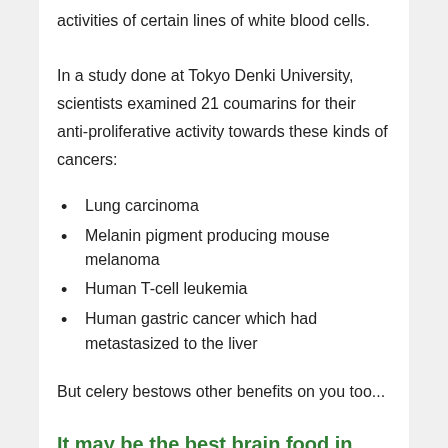activities of certain lines of white blood cells.
In a study done at Tokyo Denki University, scientists examined 21 coumarins for their anti-proliferative activity towards these kinds of cancers:
Lung carcinoma
Melanin pigment producing mouse melanoma
Human T-cell leukemia
Human gastric cancer which had metastasized to the liver
But celery bestows other benefits on you too...
It may be the best brain food in your fridge